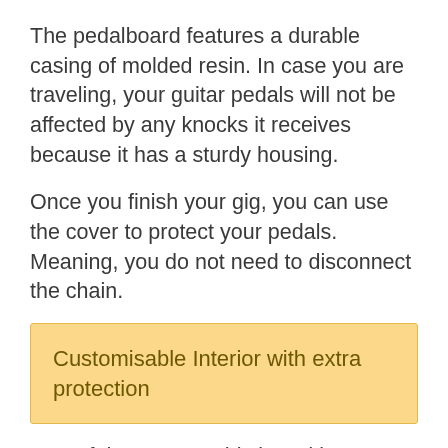The pedalboard features a durable casing of molded resin. In case you are traveling, your guitar pedals will not be affected by any knocks it receives because it has a sturdy housing.
Once you finish your gig, you can use the cover to protect your pedals. Meaning, you do not need to disconnect the chain.
Customisable Interior with extra protection
One of the reasons this board is on top of the list is that it offers the freedom to create any layout you want. It also comes